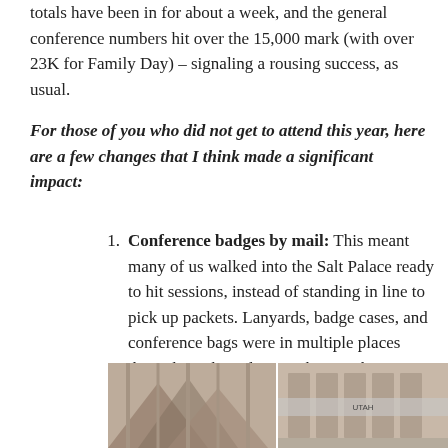totals have been in for about a week, and the general conference numbers hit over the 15,000 mark (with over 23K for Family Day) – signaling a rousing success, as usual.
For those of you who did not get to attend this year, here are a few changes that I think made a significant impact:
Conference badges by mail: This meant many of us walked into the Salt Palace ready to hit sessions, instead of standing in line to pick up packets. Lanyards, badge cases, and conference bags were in multiple places throughout the Palace, making pick-up a breeze.
[Figure (photo): Two photographs side by side showing exterior or interior views, one appears to show a building facade with geometric patterns, and the other shows an interior corridor or hallway.]